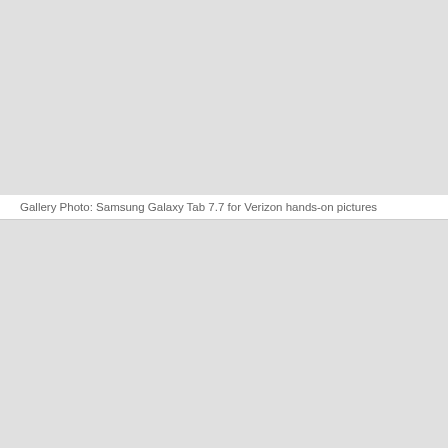[Figure (photo): Gallery photo area for Samsung Galaxy Tab 7.7 for Verizon hands-on pictures (top image, gray placeholder)]
Gallery Photo: Samsung Galaxy Tab 7.7 for Verizon hands-on pictures
[Figure (photo): Gallery photo area for Samsung Galaxy Tab 7.7 for Verizon hands-on pictures (second image, gray placeholder)]
Though Samsung already represents the 7-inch tablet class in the US with the Galaxy Tab 7.0 Plus on T-Mobile, it's the Galaxy Tab 7.7 we've really been wanting — it's just hard to argue with a 1280 x 800 Super AMOLED Plus display in a 7.9mm-thick shell. That dream is realized today on the news that Verizon is picking up an LTE-enabled version of the